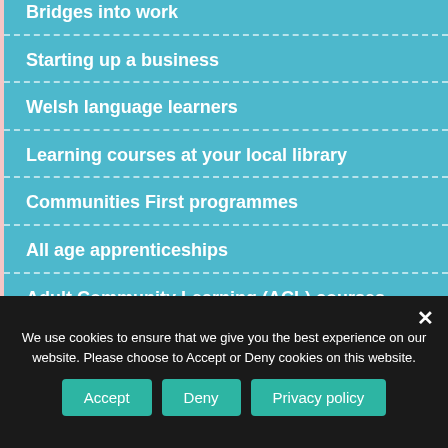Bridges into work
Starting up a business
Welsh language learners
Learning courses at your local library
Communities First programmes
All age apprenticeships
Adult Community Learning (ACL) courses
Volunteering
We use cookies to ensure that we give you the best experience on our website. Please choose to Accept or Deny cookies on this website.